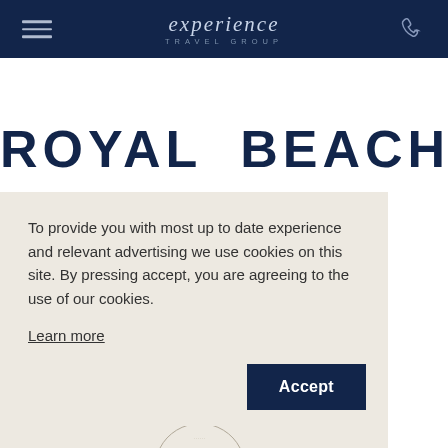experience TRAVEL GROUP
ROYAL BEACH
To provide you with most up to date experience and relevant advertising we use cookies on this site. By pressing accept, you are agreeing to the use of our cookies.
Learn more
Accept